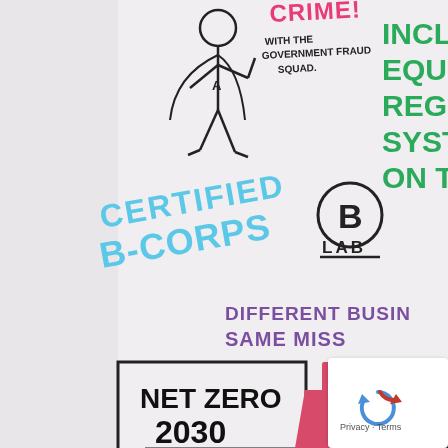[Figure (illustration): Whiteboard-style sketchnote illustration showing various hand-drawn elements including a superhero figure, 'CRIME!' text in pink, 'WITH THE GOVERNMENT FRAUD SQUAD.' text, a large B in a circle with LAB label, 'CERTIFIED B-CORPS' in blue lettering, green 'INCLU EQUIT REGER SYSTEM ON THE' text on right edge, purple 'DIFFERENT BUSI SAME MISS' text, a NET ZERO 2030 box, pink factory illustration, building with pink roof, and 'HOW TO BECOME B' text at bottom, with a reCAPTCHA Privacy-Terms overlay in bottom right corner.]